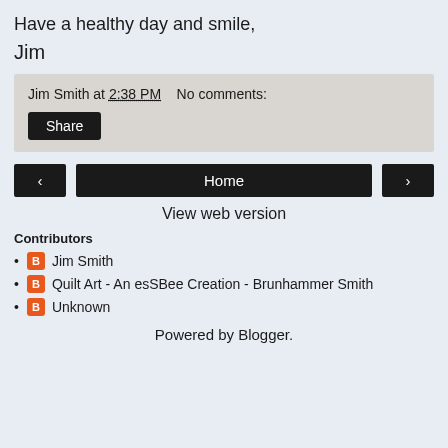Have a healthy day and smile,
Jim
Jim Smith at 2:38 PM    No comments:
Share
‹    Home    ›
View web version
Contributors
Jim Smith
Quilt Art - An esSBee Creation - Brunhammer Smith
Unknown
Powered by Blogger.